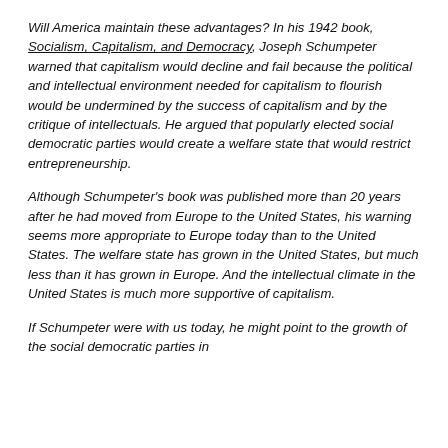Will America maintain these advantages? In his 1942 book, Socialism, Capitalism, and Democracy, Joseph Schumpeter warned that capitalism would decline and fail because the political and intellectual environment needed for capitalism to flourish would be undermined by the success of capitalism and by the critique of intellectuals. He argued that popularly elected social democratic parties would create a welfare state that would restrict entrepreneurship.
Although Schumpeter's book was published more than 20 years after he had moved from Europe to the United States, his warning seems more appropriate to Europe today than to the United States. The welfare state has grown in the United States, but much less than it has grown in Europe. And the intellectual climate in the United States is much more supportive of capitalism.
If Schumpeter were with us today, he might point to the growth of the social democratic parties in